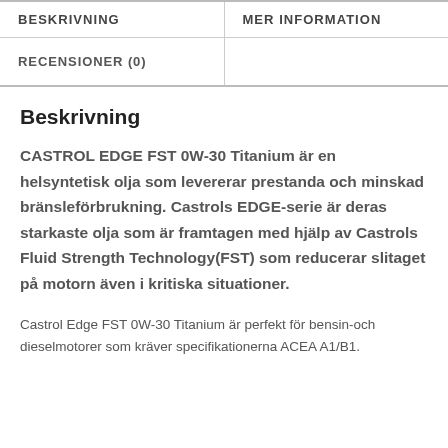| BESKRIVNING | MER INFORMATION |
| --- | --- |
| RECENSIONER (0) |  |
Beskrivning
CASTROL EDGE FST 0W-30 Titanium är en helsyntetisk olja som levererar prestanda och minskad bränsleförbrukning. Castrols EDGE-serie är deras starkaste olja som är framtagen med hjälp av Castrols Fluid Strength Technology(FST) som reducerar slitaget på motorn även i kritiska situationer.
Castrol Edge FST 0W-30 Titanium är perfekt för bensin-och dieselmotorer som kräver specifikationerna ACEA A1/B1.